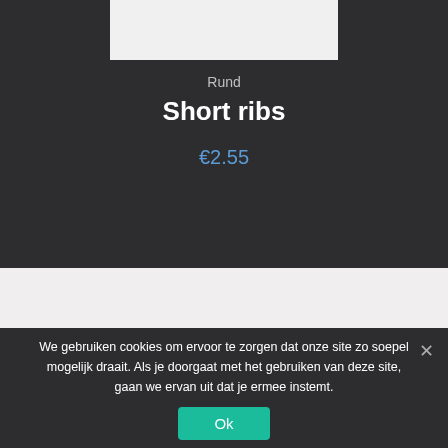[Figure (other): White/light gray image placeholder at top of product page]
Rund
Short ribs
€2.55
Deze website maakt gebruik van Cookies. Wij gebruiken cookies om ervoor te zorgen dat onze website voor de b... (partially obscured)
We gebruiken cookies om ervoor te zorgen dat onze site zo soepel mogelijk draait. Als je doorgaat met het gebruiken van deze site, gaan we ervan uit dat je ermee instemt.
Ok